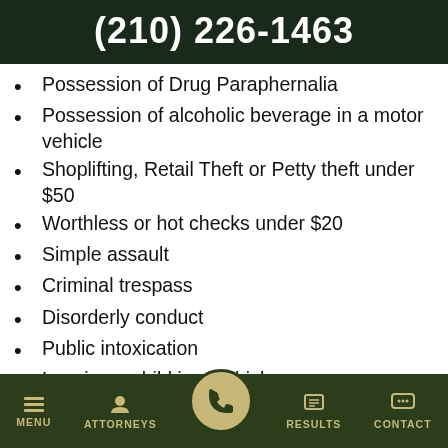(210) 226-1463
Possession of Drug Paraphernalia
Possession of alcoholic beverage in a motor vehicle
Shoplifting, Retail Theft or Petty theft under $50
Worthless or hot checks under $20
Simple assault
Criminal trespass
Disorderly conduct
Public intoxication
Leaving a child in a vehicle
Bail jumping
When a computer check reveals an outstanding class C misdemeanor arrest warrant for a person that justifies the detention of the person, officers with the San Antonio Polic...
MENU | ATTORNEYS | [call button] | RESULTS | CONTACT